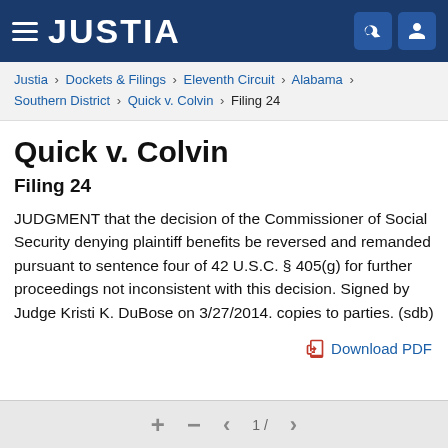JUSTIA
Justia › Dockets & Filings › Eleventh Circuit › Alabama › Southern District › Quick v. Colvin › Filing 24
Quick v. Colvin
Filing 24
JUDGMENT that the decision of the Commissioner of Social Security denying plaintiff benefits be reversed and remanded pursuant to sentence four of 42 U.S.C. § 405(g) for further proceedings not inconsistent with this decision. Signed by Judge Kristi K. DuBose on 3/27/2014. copies to parties. (sdb)
Download PDF